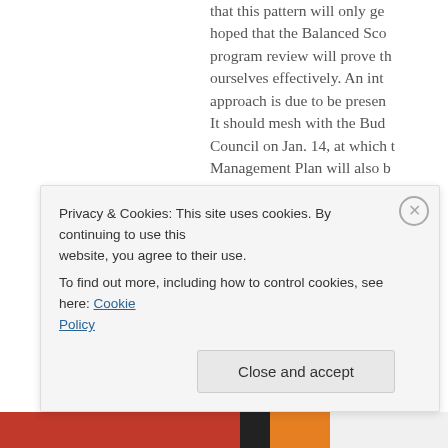that this pattern will only ge... hoped that the Balanced Sco... program review will prove th... ourselves effectively. An int... approach is due to be presen... It should mesh with the Bud... Council on Jan. 14, at which t... Management Plan will also b... presentation as the budget a... shows no real signs of the er... in this area which has been o...
Thankfully Councillor Pattje'... COW meetings at the VICC a... record them for availability t... web site passed unanimously... discussions of finance and po...
Privacy & Cookies: This site uses cookies. By continuing to use this website, you agree to their use. To find out more, including how to control cookies, see here: Cookie Policy